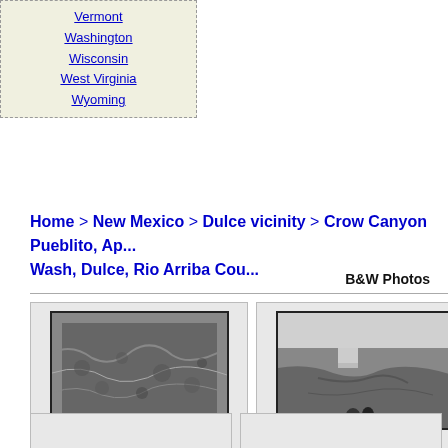Vermont
Washington
Wisconsin
West Virginia
Wyoming
Home > New Mexico > Dulce vicinity > Crow Canyon Pueblito, Ap... Wash, Dulce, Rio Arriba Cou...
B&W Photos
[Figure (photo): Black and white aerial photo of rugged terrain, HB850850, BWPhotos 381141]
HB850850
BWPhotos 381141
High Res. Downloads starting at $19.99
[Figure (photo): Black and white photo of canyon landscape from overlook, HB850851, BWPhotos 381142]
HB850851
BWPhotos 381142
High Res. Downloads starting at $19.99
[Figure (photo): Partial black and white photo, BW...]
BW...
High... start...